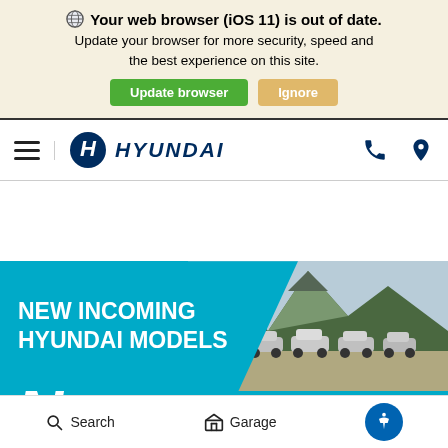Your web browser (iOS 11) is out of date. Update your browser for more security, speed and the best experience on this site.
[Figure (screenshot): Hyundai website navigation bar with hamburger menu, Hyundai logo, phone and location icons]
[Figure (photo): Promotional banner showing NEW INCOMING HYUNDAI MODELS with multiple Hyundai SUVs parked in a mountain scenic setting]
Search   Garage   Accessibility